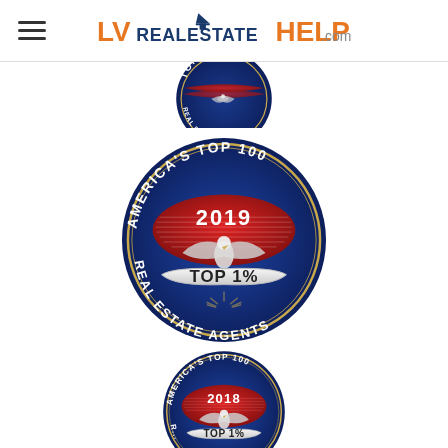LVRealEstateHELP.com
[Figure (logo): America's Top 100 Top 1% Real Estate Agents badge (partially visible, top portion only)]
[Figure (logo): America's Top 100 Top 1% Real Estate Agents 2019 badge, full circular award medallion]
[Figure (logo): America's Top 100 Top 1% Real Estate Agents 2018 badge (partially visible, top and middle portion)]